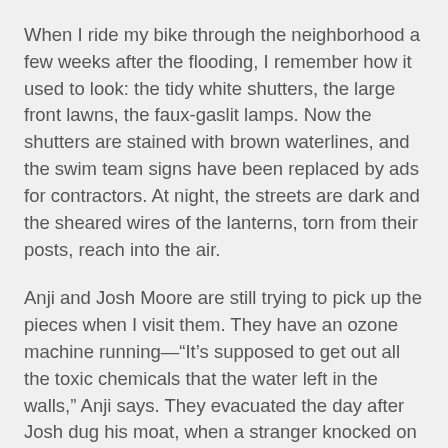When I ride my bike through the neighborhood a few weeks after the flooding, I remember how it used to look: the tidy white shutters, the large front lawns, the faux-gaslit lamps. Now the shutters are stained with brown waterlines, and the swim team signs have been replaced by ads for contractors. At night, the streets are dark and the sheared wires of the lanterns, torn from their posts, reach into the air.
Anji and Josh Moore are still trying to pick up the pieces when I visit them. They have an ozone machine running—“It’s supposed to get out all the toxic chemicals that the water left in the walls,” Anji says. They evacuated the day after Josh dug his moat, when a stranger knocked on the door and offered a boat ride. They waded back a few days later, before the mandatory evacuation order, to try to salvage what they could. “When I opened that door, it was the worst moment of my life,” Anji